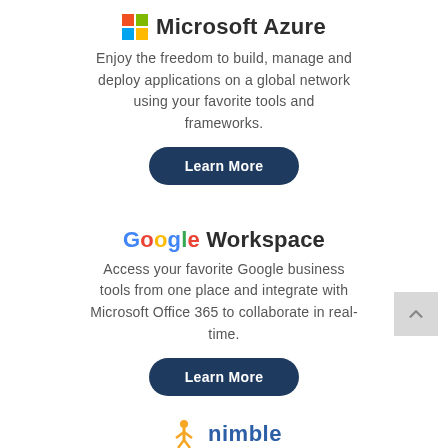[Figure (logo): Microsoft Azure logo with colored Windows grid icon and text 'Microsoft Azure']
Enjoy the freedom to build, manage and deploy applications on a global network using your favorite tools and frameworks.
[Figure (other): Dark navy 'Learn More' button]
[Figure (logo): Google Workspace logo with colorful Google letters and 'Workspace' text]
Access your favorite Google business tools from one place and integrate with Microsoft Office 365 to collaborate in real-time.
[Figure (other): Dark navy 'Learn More' button]
[Figure (logo): Nimble logo with orange/yellow person icon and 'nimble' text in blue]